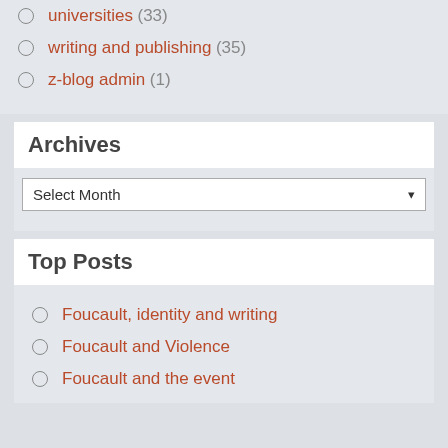TV (26)
universities (33)
writing and publishing (35)
z-blog admin (1)
Archives
Select Month
Top Posts
Foucault, identity and writing
Foucault and Violence
Foucault and the event